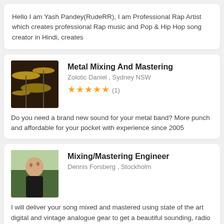Hello I am Yash Pandey(RudeRR), I am Professional Rap Artist which creates professional Rap music and Pop & Hip Hop song creator in Hindi, creates
[Figure (photo): Photo of drum cymbals]
Metal Mixing And Mastering
Zolotic Daniel , Sydney NSW
★★★★★ (1)
Do you need a brand new sound for your metal band? More punch and affordable for your pocket with experience since 2005
[Figure (photo): Photo of a young person outdoors]
Mixing/Mastering Engineer
Dennis Forsberg , Stockholm
I will deliver your song mixed and mastered using state of the art digital and vintage analogue gear to get a beautiful sounding, radio friendly and
[Figure (photo): Photo of a person with reddish hair]
I Mix and Master Records!